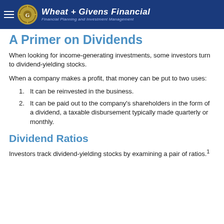Wheat + Givens Financial — Financial Planning and Investment Management
A Primer on Dividends
When looking for income-generating investments, some investors turn to dividend-yielding stocks.
When a company makes a profit, that money can be put to two uses:
1. It can be reinvested in the business.
2. It can be paid out to the company's shareholders in the form of a dividend, a taxable disbursement typically made quarterly or monthly.
Dividend Ratios
Investors track dividend-yielding stocks by examining a pair of ratios.¹